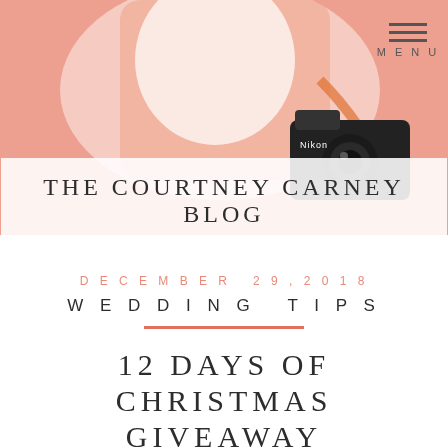MENU
[Figure (photo): Person holding a Nikon camera against a pink/salmon background, with a white fabric overlaid. The Courtney Carney Blog title banner overlaid on top.]
THE COURTNEY CARNEY BLOG
DECEMBER 29, 2018
WEDDING TIPS
12 DAYS OF CHRISTMAS GIVEAWAY